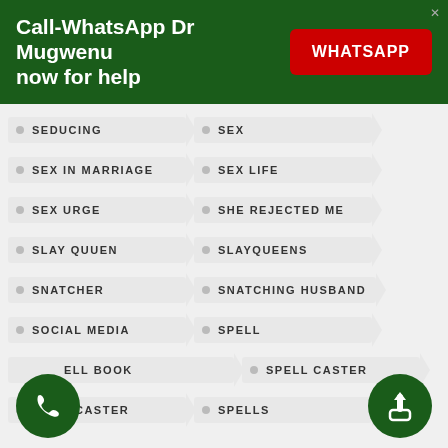Call-WhatsApp Dr Mugwenu now for help
SEDUCING
SEX
SEX IN MARRIAGE
SEX LIFE
SEX URGE
SHE REJECTED ME
SLAY QUUEN
SLAYQUEENS
SNATCHER
SNATCHING HUSBAND
SOCIAL MEDIA
SPELL
ELL BOOK
SPELL CASTER
SPELLCASTER
SPELLS